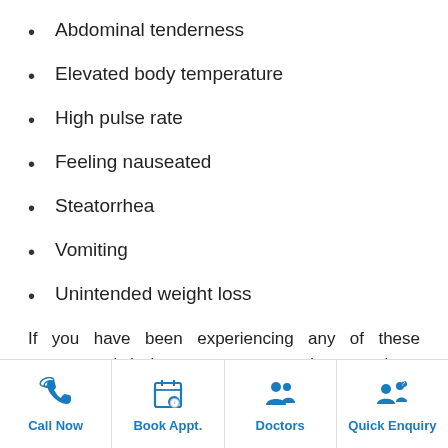Abdominal tenderness
Elevated body temperature
High pulse rate
Feeling nauseated
Steatorrhea
Vomiting
Unintended weight loss
If you have been experiencing any of these symptoms it is important to see a doctor and get yourself evaluated. These do
Call Now | Book Appt. | Doctors | Quick Enquiry